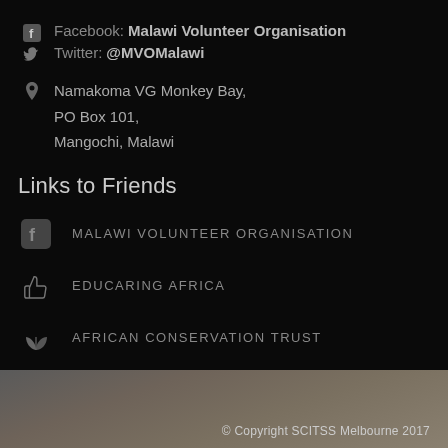Facebook: Malawi Volunteer Organisation
Twitter: @MVOMalawi
Namakoma VG Monkey Bay, PO Box 101, Mangochi, Malawi
Links to Friends
MALAWI VOLUNTEER ORGANISATION
EDUCARING AFRICA
AFRICAN CONSERVATION TRUST
© Copyright SCITSS Melbourne 2017